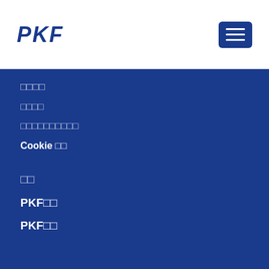[Figure (logo): PKF logo in dark blue italic bold text]
□□□□
□□□□
□□□□□□□□□□
Cookie □□
□□
PKF□□
PKF□□